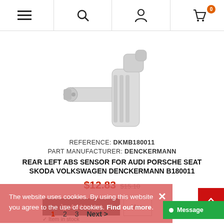Navigation header with menu, search, account, and cart (0 items) icons
[Figure (photo): Product photo of a white plastic ABS wheel speed sensor connector/housing for automotive use, showing the plug end and cable]
REFERENCE: DKMB180011
PART MANUFACTURER: DENCKERMANN
REAR LEFT ABS SENSOR FOR AUDI PORSCHE SEAT SKODA VOLKSWAGEN DENCKERMANN B180011
$12.83  $15.10
Add to cart   More
Item in stock
The website uses cookies. By using this website you agree to the use of cookies. Find out more.
1  2  3  Next >